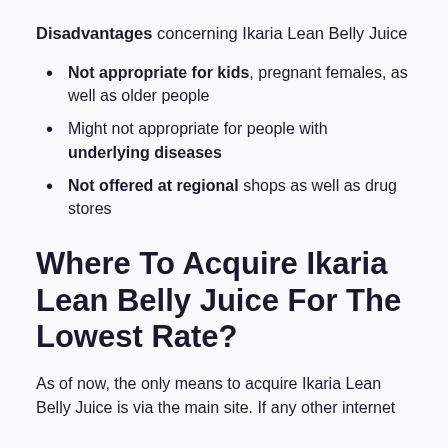Disadvantages concerning Ikaria Lean Belly Juice
Not appropriate for kids, pregnant females, as well as older people
Might not appropriate for people with underlying diseases
Not offered at regional shops as well as drug stores
Where To Acquire Ikaria Lean Belly Juice For The Lowest Rate?
As of now, the only means to acquire Ikaria Lean Belly Juice is via the main site. If any other internet